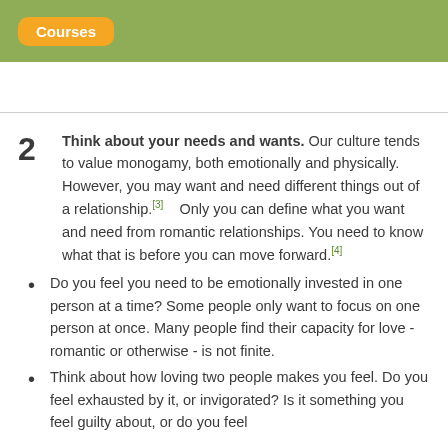Courses
Think about your needs and wants. Our culture tends to value monogamy, both emotionally and physically. However, you may want and need different things out of a relationship.[3]    Only you can define what you want and need from romantic relationships. You need to know what that is before you can move forward.[4]
Do you feel you need to be emotionally invested in one person at a time? Some people only want to focus on one person at once. Many people find their capacity for love - romantic or otherwise - is not finite.
Think about how loving two people makes you feel. Do you feel exhausted by it, or invigorated? Is it something you feel guilty about, or do you feel